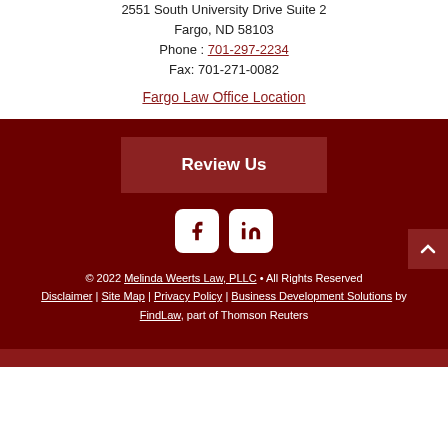2551 South University Drive Suite 2
Fargo, ND 58103
Phone: 701-297-2234
Fax: 701-271-0082
Fargo Law Office Location
Review Us
[Figure (logo): Facebook icon (white f on white rounded square) and LinkedIn icon (white in on white rounded square)]
© 2022 Melinda Weerts Law, PLLC • All Rights Reserved
Disclaimer | Site Map | Privacy Policy | Business Development Solutions by FindLaw, part of Thomson Reuters